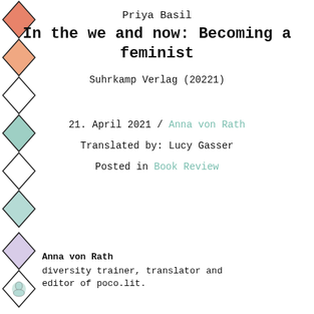Priya Basil
In the we and now: Becoming a feminist
Suhrkamp Verlag (20221)
21. April 2021 / Anna von Rath
Translated by: Lucy Gasser
Posted in Book Review
Anna von Rath
diversity trainer, translator and editor of poco.lit.